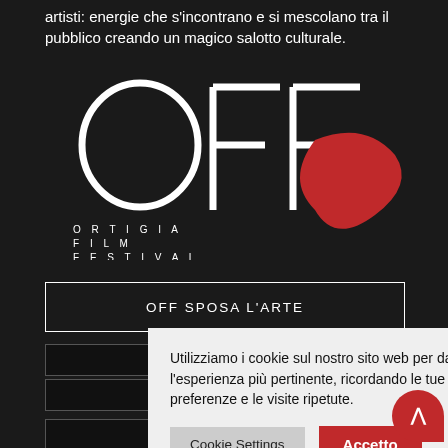artisti: energie che s'incontrano e si mescolano tra il pubblico creando un magico salotto culturale.
[Figure (logo): OFF - Ortigia Film Festival logo: stylized letters OFF in white with a red abstract drop/heart shape]
OFF SPOSA L'ARTE
[Figure (screenshot): Cookie consent popup overlay on dark website background with navigation rows visible behind. Popup text: 'Utilizziamo i cookie sul nostro sito web per darti l'esperienza più pertinente, ricordando le tue preferenze e le visite ripetute.' with Cookie Settings and Accetto buttons.]
Utilizziamo i cookie sul nostro sito web per darti l'esperienza più pertinente, ricordando le tue preferenze e le visite ripetute.